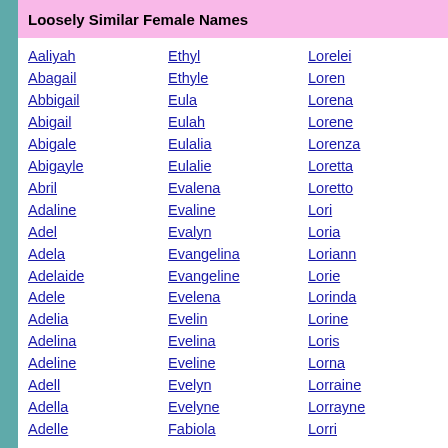Loosely Similar Female Names
Aaliyah
Abagail
Abbigail
Abigail
Abigale
Abigayle
Abril
Adaline
Adel
Adela
Adelaide
Adele
Adelia
Adelina
Adeline
Adell
Adella
Adelle
Ethyl
Ethyle
Eula
Eulah
Eulalia
Eulalie
Evalena
Evaline
Evalyn
Evangelina
Evangeline
Evelena
Evelin
Evelina
Eveline
Evelyn
Evelyne
Fabiola
Lorelei
Loren
Lorena
Lorene
Lorenza
Loretta
Loretto
Lori
Loria
Loriann
Lorie
Lorinda
Lorine
Loris
Lorna
Lorraine
Lorrayne
Lorri